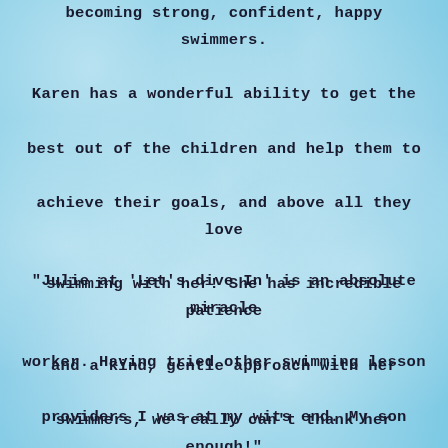becoming strong, confident, happy swimmers. Karen has a wonderful ability to get the best out of the children and help them to achieve their goals, and above all they love swimming with her! She has incredible patience and a kind, gentle approach with her swimmers, we really can't thank her enough!"
"Julie at 'Let's dive In' is an absolute miracle worker. Having tried other swimming lesson providers I was at my wits end. My son wouldn't even get in the pool! However, not only did Julie get him into the pool within five